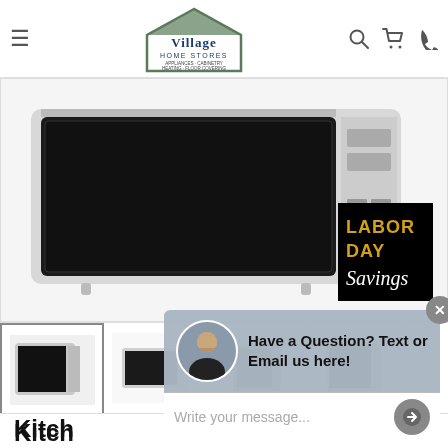Village Home Stores — VillageHomeStores.com
[Figure (photo): Stainless steel countertop microwave oven shown from front angle with black door and control panel on right side]
[Figure (photo): Labor Day Savings promotional badge — black background with gold text 'LABOR DAY' and script text 'Savings']
[Figure (photo): Thumbnail strip of four product images for the microwave]
[Figure (screenshot): Chat widget overlay: avatar of customer service rep, text 'Have a Question? Text or Email us here!', input field with placeholder 'Write your message...' and send button, and close X button]
Kitch... Resistant Stainless Steel Countertop